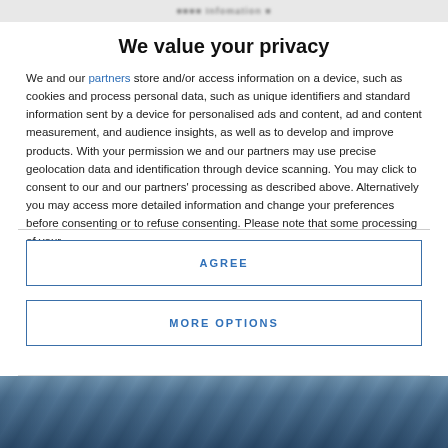[blurred site header]
We value your privacy
We and our partners store and/or access information on a device, such as cookies and process personal data, such as unique identifiers and standard information sent by a device for personalised ads and content, ad and content measurement, and audience insights, as well as to develop and improve products. With your permission we and our partners may use precise geolocation data and identification through device scanning. You may click to consent to our and our partners' processing as described above. Alternatively you may access more detailed information and change your preferences before consenting or to refuse consenting. Please note that some processing of your personal data may not require your consent, but you have a right to
AGREE
MORE OPTIONS
[Figure (photo): Background image strip at bottom of page showing a dark blue scene]